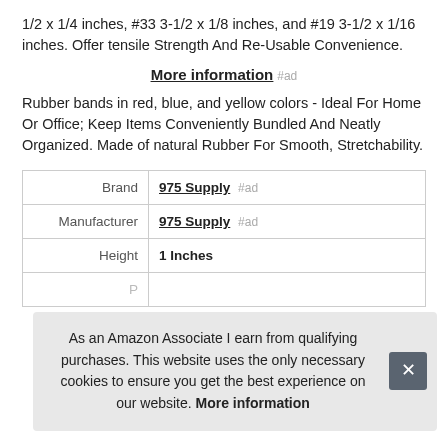1/2 x 1/4 inches, #33 3-1/2 x 1/8 inches, and #19 3-1/2 x 1/16 inches. Offer tensile Strength And Re-Usable Convenience.
More information #ad
Rubber bands in red, blue, and yellow colors - Ideal For Home Or Office; Keep Items Conveniently Bundled And Neatly Organized. Made of natural Rubber For Smooth, Stretchability.
|  |  |
| --- | --- |
| Brand | 975 Supply #ad |
| Manufacturer | 975 Supply #ad |
| Height | 1 Inches |
| P |  |
As an Amazon Associate I earn from qualifying purchases. This website uses the only necessary cookies to ensure you get the best experience on our website. More information